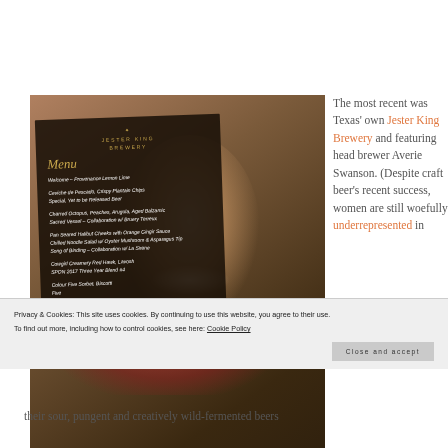[Figure (photo): Photo of a smiling woman overlaid with a Jester King Brewery dinner menu card listing courses including Ceviche de Pescado, Charred Octopus, Pan Seared Halibut Cheeks, Cowgirl Creamery Red Hawk, and Colour Five Sorbet]
The most recent was Texas' own Jester King Brewery and featuring head brewer Averie Swanson. (Despite craft beer's recent success, women are still woefully underrepresented in
Privacy & Cookies: This site uses cookies. By continuing to use this website, you agree to their use.
To find out more, including how to control cookies, see here: Cookie Policy
Close and accept
their sour, pungent and creatively wild-fermented beers